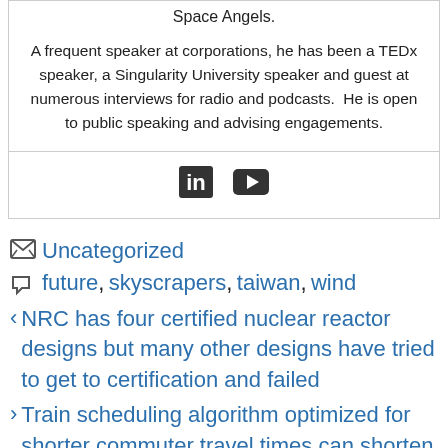Space Angels.
A frequent speaker at corporations, he has been a TEDx speaker, a Singularity University speaker and guest at numerous interviews for radio and podcasts.  He is open to public speaking and advising engagements.
[Figure (illustration): LinkedIn and YouTube social media icons]
Uncategorized
future, skyscrapers, taiwan, wind
NRC has four certified nuclear reactor designs but many other designs have tried to get to certification and failed
Train scheduling algorithm optimized for shorter commuter travel times can shorten